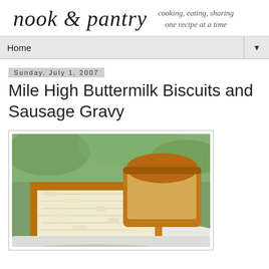nook & pantry
cooking, eating, sharing one recipe at a time
Home
Sunday, July 1, 2007
Mile High Buttermilk Biscuits and Sausage Gravy
[Figure (photo): Close-up photo of golden-brown buttermilk biscuits on a white plate, showing flaky layered interior, with green blurred background]